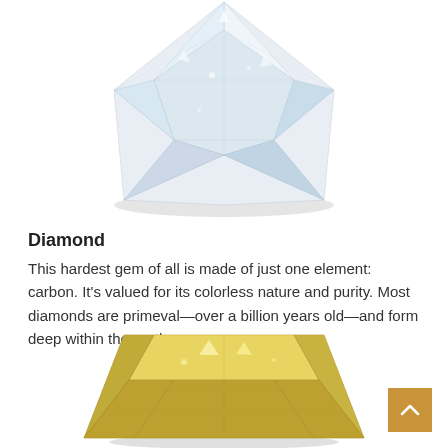[Figure (photo): Round brilliant-cut clear/white diamond gemstone photographed from above against white background, showing the top facets and sparkle.]
Diamond
This hardest gem of all is made of just one element: carbon. It’s valued for its colorless nature and purity. Most diamonds are primeval—over a billion years old—and form deep within the earth.
[Figure (photo): Radiant-cut yellow/canary diamond gemstone photographed from the side against white background, showing facets and golden-yellow color.]